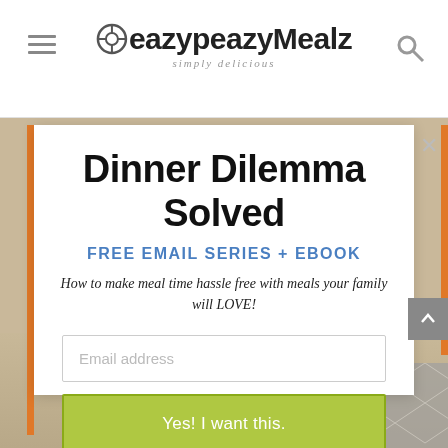eazypeazyMealz — simply delicious
Dinner Dilemma Solved
FREE EMAIL SERIES + EBOOK
How to make meal time hassle free with meals your family will LOVE!
Email address
Yes! I want this.